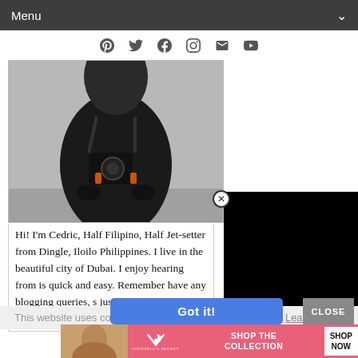Menu
[Figure (screenshot): Navigation menu bar with social icons (Pinterest, Twitter, Facebook, Instagram, Email, YouTube)]
[Figure (photo): Person in black jacket with camera strapped around neck, standing outdoors]
Hi! I'm Cedric, Half Filipino, Half Jet-setter from Dingle, Iloilo Philippines. I live in the beautiful city of Dubai. I enjoy hearing from [you] is quick and easy. Remember [to] have any blogging queries, s[end me a message or if you] just want to say hi, please c[ontact me]
[Figure (screenshot): Black video player overlay box with X close button]
This website uses cookies to e[nhance your] experience on our website. Learn more
Got it!
CLOSE
[Figure (other): Victoria's Secret advertisement banner: woman's face, VS logo, SHOP THE COLLECTION, SHOP NOW button]